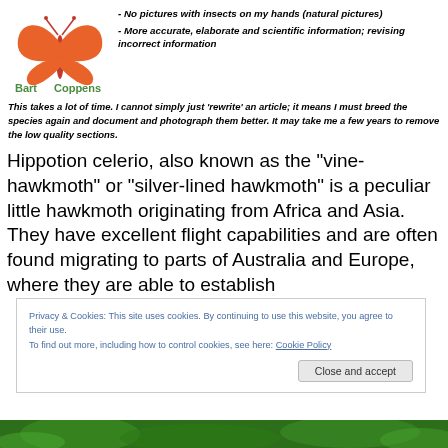[Figure (logo): Bart Coppens logo with orange butterfly/moth graphic and green text]
- No pictures with insects on my hands (natural pictures)
- More accurate, elaborate and scientific information; revising incorrect information
This takes a lot of time. I cannot simply just 'rewrite' an article; it means I must breed the species again and document and photograph them better. It may take me a few years to remove the low quality sections.
Hippotion celerio, also known as the “vine-hawkmoth” or “silver-lined hawkmoth” is a peculiar little hawkmoth originating from Africa and Asia. They have excellent flight capabilities and are often found migrating to parts of Australia and Europe, where they are able to establish
Privacy & Cookies: This site uses cookies. By continuing to use this website, you agree to their use.
To find out more, including how to control cookies, see here: Cookie Policy
Close and accept
[Figure (photo): Green foliage photo strip at bottom of page]